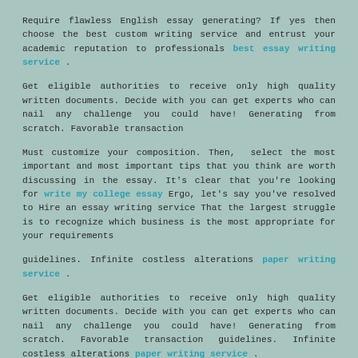Require flawless English essay generating? If yes then choose the best custom writing service and entrust your academic reputation to professionals best essay writing service .
Get eligible authorities to receive only high quality written documents. Decide with you can get experts who can nail any challenge you could have! Generating from scratch. Favorable transaction
Must customize your composition. Then, select the most important and most important tips that you think are worth discussing in the essay. It's clear that you're looking for write my college essay Ergo, let's say you've resolved to Hire an essay writing service That the largest struggle is to recognize which business is the most appropriate for your requirements
guidelines. Infinite costless alterations paper writing service .
Get eligible authorities to receive only high quality written documents. Decide with you can get experts who can nail any challenge you could have! Generating from scratch. Favorable transaction guidelines. Infinite costless alterations paper writing service .
Require flawless English essay generating? If yes then choose the best custom writing service and entrust your academic reputation to